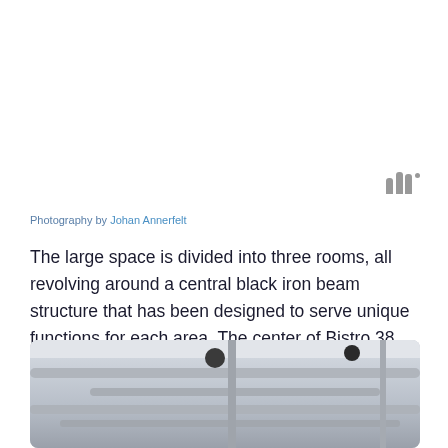[Figure (logo): Three vertical bars of increasing height with a small dot, resembling a stylized 'W' logo with superscript circle]
Photography by Johan Annerfelt
The large space is divided into three rooms, all revolving around a central black iron beam structure that has been designed to serve unique functions for each area. The center of Bistro 38 holds a long two-level sofa where one side faces the massive concrete bar and the other, lower part is turned towards the dining area.
[Figure (photo): Interior photo showing ceiling with industrial pipes, ducts, and pendant lights, likely from Bistro 38 restaurant]